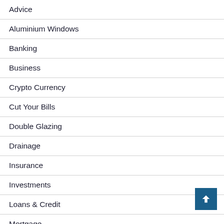Advice
Aluminium Windows
Banking
Business
Crypto Currency
Cut Your Bills
Double Glazing
Drainage
Insurance
Investments
Loans & Credit
Mortgage
Opinions
Pensions